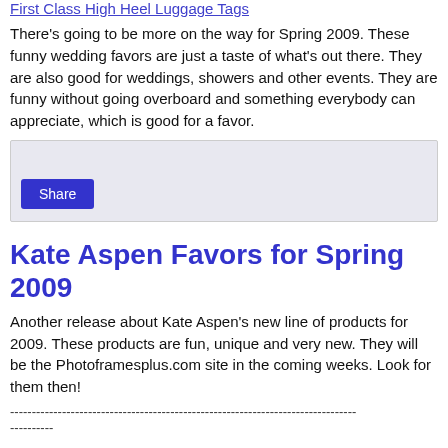First Class High Heel Luggage Tags
There's going to be more on the way for Spring 2009. These funny wedding favors are just a taste of what's out there. They are also good for weddings, showers and other events. They are funny without going overboard and something everybody can appreciate, which is good for a favor.
[Figure (screenshot): A grey share box with a blue Share button]
Kate Aspen Favors for Spring 2009
Another release about Kate Aspen's new line of products for 2009. These products are fun, unique and very new. They will be the Photoframesplus.com site in the coming weeks. Look for them then!
--------------------------------------------------------------------------------
----------